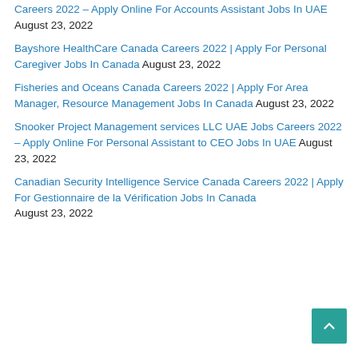Careers 2022 – Apply Online For Accounts Assistant Jobs In UAE August 23, 2022
Bayshore HealthCare Canada Careers 2022 | Apply For Personal Caregiver Jobs In Canada August 23, 2022
Fisheries and Oceans Canada Careers 2022 | Apply For Area Manager, Resource Management Jobs In Canada August 23, 2022
Snooker Project Management services LLC UAE Jobs Careers 2022 – Apply Online For Personal Assistant to CEO Jobs In UAE August 23, 2022
Canadian Security Intelligence Service Canada Careers 2022 | Apply For Gestionnaire de la Vérification Jobs In Canada August 23, 2022